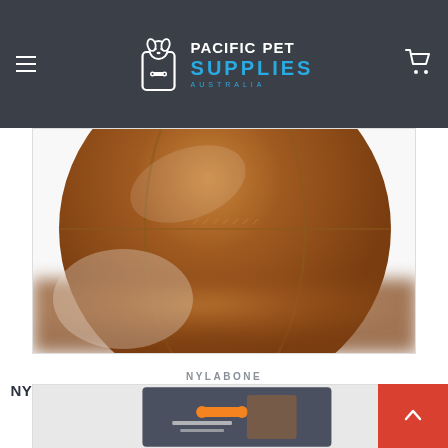Pacific Pet Supplies Australia
[Figure (photo): Close-up photo of a brown leather-textured dog football toy (Nylabone Power Play Dog Football Gripz 14cm), blurred bottom portion visible against white background]
NYLABONE
NYLABONE POWER PLAY DOG FOOTBALL GRIPZ 14CM
sgd $12.81
[Figure (photo): Partially visible product packaging card for a Nylabone chew toy, shown at bottom of page, cut off]